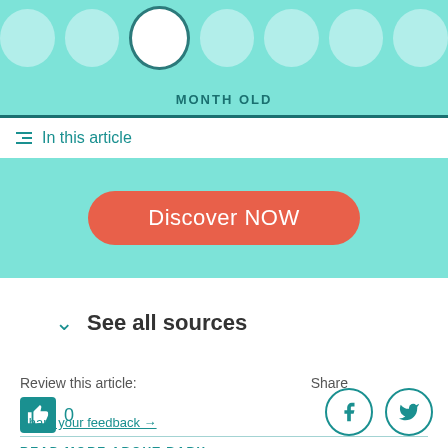[Figure (infographic): Teal banner with circle month-selector, center circle highlighted with dark teal border, label reading MONTH OLD]
In this article
[Figure (infographic): Teal background with coral/salmon rounded button labeled Discover NOW]
See all sources
Review this article:
0
Share
Share your feedback →
READ MORE ABOUT BABY
Parenting Life
Sleep
Newborn
Teething
Feeding